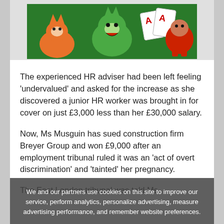[Figure (illustration): Cartoon illustration of animated characters including a fox, a green dragon/monster, and other colorful mascot-style characters on a green background with playing cards]
The experienced HR adviser had been left feeling ‘undervalued’ and asked for the increase as she discovered a junior HR worker was brought in for cover on just £3,000 less than her £30,000 salary.
Now, Ms Musguin has sued construction firm Breyer Group and won £9,000 after an employment tribunal ruled it was an ‘act of overt discrimination’ and ‘tainted’ her pregnancy.
The East London tribunal was told Ms
We and our partners use cookies on this site to improve our service, perform analytics, personalize advertising, measure advertising performance, and remember website preferences.